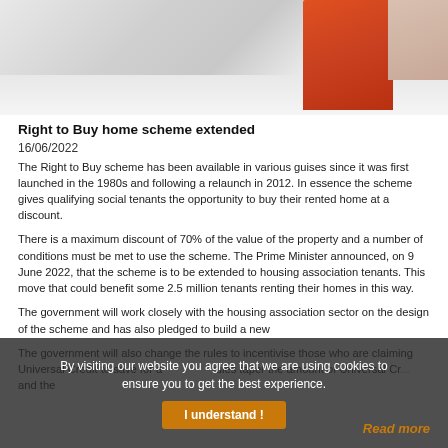[Figure (photo): Photo showing a modern interior/entryway with a red/orange sculptural element or cabinet on the right side against a light grey background with reflective floor.]
Right to Buy home scheme extended
16/06/2022
The Right to Buy scheme has been available in various guises since it was first launched in the 1980s and following a relaunch in 2012. In essence the scheme gives qualifying social tenants the opportunity to buy their rented home at a discount.
There is a maximum discount of 70% of the value of the property and a number of conditions must be met to use the scheme. The Prime Minister announced, on 9 June 2022, that the scheme is to be extended to housing association tenants. This move that could benefit some 2.5 million tenants renting their homes in this way.
The government will work closely with the housing association sector on the design of the scheme and has also pledged to build a new
The government will also change the rules to incentivise those who are claiming Universal Credit to save for a... rules taper the amount of Universal Cr... and the
By visiting our website you agree that we are using cookies to ensure you to get the best experience.
I understand !
Read more